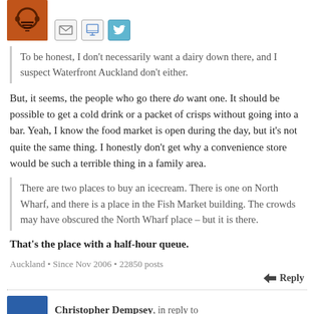[Figure (illustration): Orange avatar with headphone/microphone icon and social sharing icons (email, monitor, Twitter)]
To be honest, I don't necessarily want a dairy down there, and I suspect Waterfront Auckland don't either.
But, it seems, the people who go there do want one. It should be possible to get a cold drink or a packet of crisps without going into a bar. Yeah, I know the food market is open during the day, but it's not quite the same thing. I honestly don't get why a convenience store would be such a terrible thing in a family area.
There are two places to buy an icecream. There is one on North Wharf, and there is a place in the Fish Market building. The crowds may have obscured the North Wharf place – but it is there.
That's the place with a half-hour queue.
Auckland • Since Nov 2006 • 22850 posts
Reply
Christopher Dempsey, in reply to